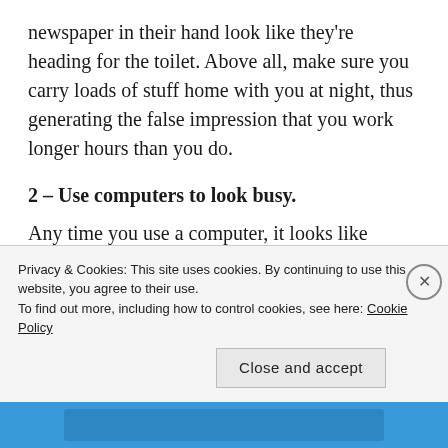newspaper in their hand look like they're heading for the toilet. Above all, make sure you carry loads of stuff home with you at night, thus generating the false impression that you work longer hours than you do.
2 – Use computers to look busy.
Any time you use a computer, it looks like “work” to the casual observer. You can send and receive personal e-mail, chat, and generally have a blast without doing anything remotely related to work. These aren’t exactly
Privacy & Cookies: This site uses cookies. By continuing to use this website, you agree to their use.
To find out more, including how to control cookies, see here: Cookie Policy
Close and accept